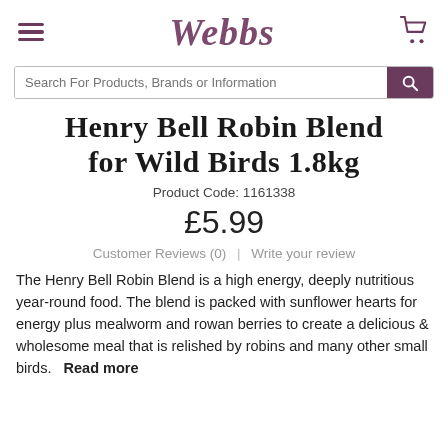Webbs
Henry Bell Robin Blend for Wild Birds 1.8kg
Product Code: 1161338
£5.99
Customer Reviews (0)  |  Write your review
The Henry Bell Robin Blend is a high energy, deeply nutritious year-round food. The blend is packed with sunflower hearts for energy plus mealworm and rowan berries to create a delicious & wholesome meal that is relished by robins and many other small birds.  Read more